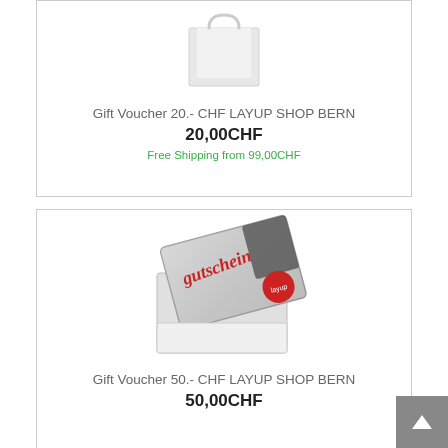[Figure (photo): White shopping bag product image for gift voucher]
Gift Voucher 20.- CHF LAYUP SHOP BERN
20,00CHF
Free Shipping from 99,00CHF
[Figure (photo): Gift voucher card (Gutschein) with layup logo sticker and envelope]
Gift Voucher 50.- CHF LAYUP SHOP BERN
50,00CHF